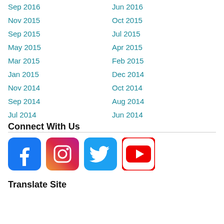Sep 2016
Jun 2016
Nov 2015
Oct 2015
Sep 2015
Jul 2015
May 2015
Apr 2015
Mar 2015
Feb 2015
Jan 2015
Dec 2014
Nov 2014
Oct 2014
Sep 2014
Aug 2014
Jul 2014
Jun 2014
Connect With Us
[Figure (infographic): Social media icons for Facebook, Instagram, Twitter, and YouTube]
Translate Site